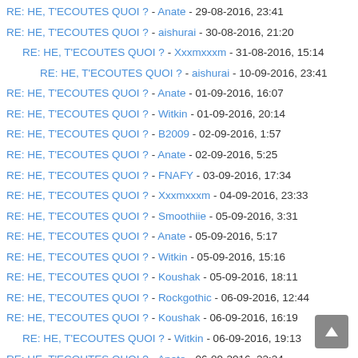RE: HE, T'ECOUTES QUOI ? - Anate - 29-08-2016, 23:41
RE: HE, T'ECOUTES QUOI ? - aishurai - 30-08-2016, 21:20
RE: HE, T'ECOUTES QUOI ? - Xxxmxxxm - 31-08-2016, 15:14
RE: HE, T'ECOUTES QUOI ? - aishurai - 10-09-2016, 23:41
RE: HE, T'ECOUTES QUOI ? - Anate - 01-09-2016, 16:07
RE: HE, T'ECOUTES QUOI ? - Witkin - 01-09-2016, 20:14
RE: HE, T'ECOUTES QUOI ? - B2009 - 02-09-2016, 1:57
RE: HE, T'ECOUTES QUOI ? - Anate - 02-09-2016, 5:25
RE: HE, T'ECOUTES QUOI ? - FNAFY - 03-09-2016, 17:34
RE: HE, T'ECOUTES QUOI ? - Xxxmxxxm - 04-09-2016, 23:33
RE: HE, T'ECOUTES QUOI ? - Smoothiie - 05-09-2016, 3:31
RE: HE, T'ECOUTES QUOI ? - Anate - 05-09-2016, 5:17
RE: HE, T'ECOUTES QUOI ? - Witkin - 05-09-2016, 15:16
RE: HE, T'ECOUTES QUOI ? - Koushak - 05-09-2016, 18:11
RE: HE, T'ECOUTES QUOI ? - Rockgothic - 06-09-2016, 12:44
RE: HE, T'ECOUTES QUOI ? - Koushak - 06-09-2016, 16:19
RE: HE, T'ECOUTES QUOI ? - Witkin - 06-09-2016, 19:13
RE: HE, T'ECOUTES QUOI ? - Anate - 06-09-2016, 22:24
RE: HE, T'ECOUTES QUOI ? - Koushak - 09-09-2016, 17:10
RE: HE, T'ECOUTES QUOI ? - Anate - 09-09-2016, 17:46
RE: HE, T'ECOUTES QUOI ? - Xxxmxxxm - 12-09-2016, 1:01
RE: HE, T'ECOUTES QUOI ? - BrokenWicka - 12-09-2016, 1:08
RE: HE, T'ECOUTES QUOI ? - Anate - 12-09-2016, 1:27